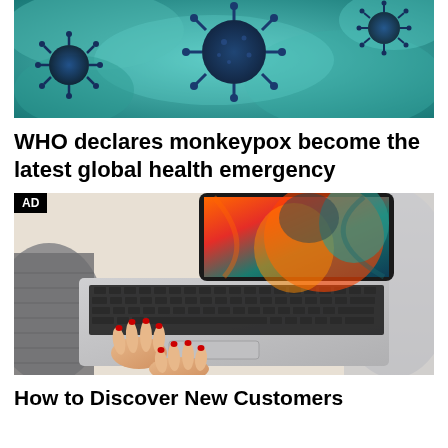[Figure (photo): Microscopic image of monkeypox virus particles on teal/turquoise background]
WHO declares monkeypox become the latest global health emergency
[Figure (photo): AD - Person using a laptop with a colorful display (MacBook Pro with vivid screen) while sitting casually, wearing a knit sweater, viewed from above]
How to Discover New Customers